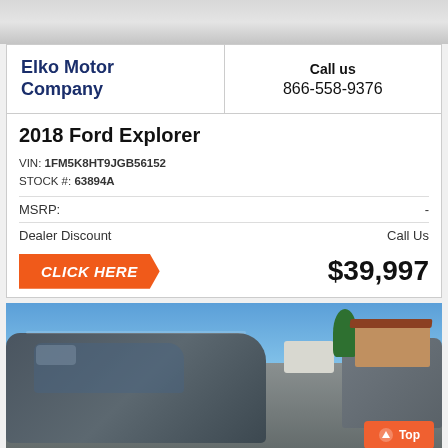[Figure (photo): Top partial photo of a vehicle (cropped top portion showing roof/hood area)]
Elko Motor Company
Call us
866-558-9376
2018 Ford Explorer
VIN: 1FM5K8HT9JGB56152
STOCK #: 63894A
MSRP:    -
Dealer Discount    Call Us
CLICK HERE    $39,997
[Figure (photo): Photo of a 2018 Ford Explorer SUV parked in a dealership lot with blue sky, trees and buildings in background. Orange 'Top' button in lower-right corner.]